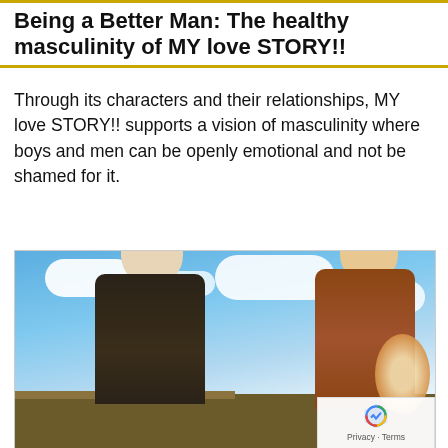Being a Better Man: The healthy masculinity of MY love STORY!!
Through its characters and their relationships, MY love STORY!! supports a vision of masculinity where boys and men can be openly emotional and not be shamed for it.
[Figure (illustration): Anime illustration showing two characters — a male character with silver/white hair wearing dark clothing on the left, and a female character with brown/orange hair and fox ears wearing a brown cloak on the right — seated on what appears to be a wooden cart or wagon, with a blue sky and clouds in the background. A reCAPTCHA badge with Privacy and Terms links appears in the lower right corner of the image.]